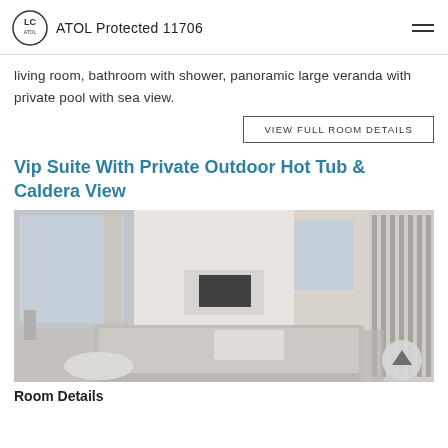ATOL Protected 11706
living room, bathroom with shower, panoramic large veranda with private pool with sea view.
VIEW FULL ROOM DETAILS
Vip Suite With Private Outdoor Hot Tub & Caldera View
[Figure (photo): Interior of a luxury white minimalist hotel suite with a large bed, wall-mounted TV, panoramic windows with sea view, and a decorative slatted panel on the right.]
Room Details